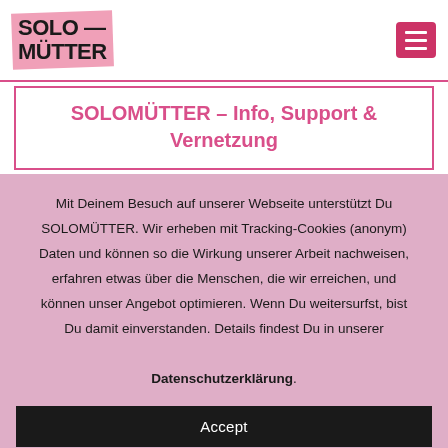[Figure (logo): SOLO MÜTTER logo with pink diagonal banner background and hamburger menu icon in pink/red on the right]
SOLOMÜTTER – Info, Support & Vernetzung
Mit Deinem Besuch auf unserer Webseite unterstützt Du SOLOMÜTTER. Wir erheben mit Tracking-Cookies (anonym) Daten und können so die Wirkung unserer Arbeit nachweisen, erfahren etwas über die Menschen, die wir erreichen, und können unser Angebot optimieren. Wenn Du weitersurfst, bist Du damit einverstanden. Details findest Du in unserer Datenschutzerklärung.
Accept